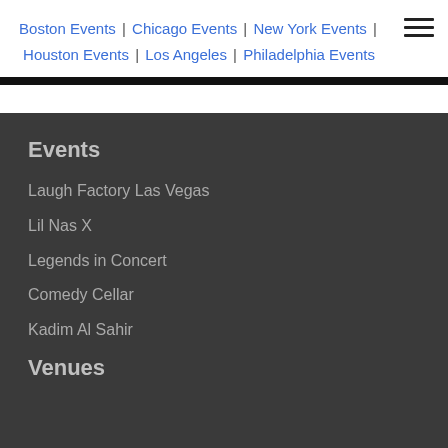Boston Events | Chicago Events | New York Events | Houston Events | Los Angeles | Philadelphia Events
Events
Laugh Factory Las Vegas
Lil Nas X
Legends in Concert
Comedy Cellar
Kadim Al Sahir
Venues